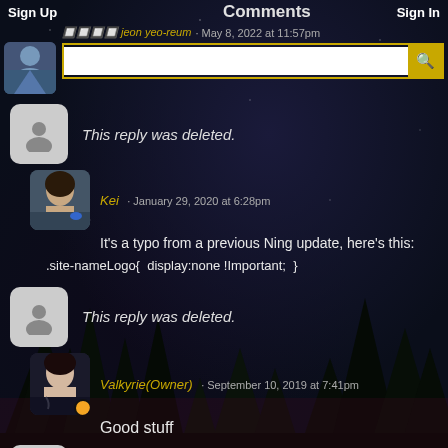Comments   Sign Up   Sign In
jeon yeo-reum · May 8, 2022 at 11:57pm
This reply was deleted.
Kei · January 29, 2020 at 6:28pm
It's a typo from a previous Ning update, here's this:
.site-nameLogo{ display:none !Important; }
This reply was deleted.
Valkyrie(Owner) · September 10, 2019 at 7:41pm
Good stuff
This reply was deleted.